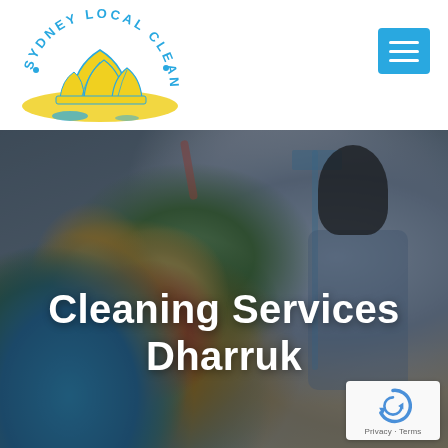[Figure (logo): Sydney Local Cleaners circular logo with Sydney Opera House illustration in blue and yellow, text arching around the top reading SYDNEY LOCAL CLEANERS]
[Figure (other): Blue square hamburger/menu button with three white horizontal lines]
[Figure (photo): Background photo of a cleaning professional holding a bucket full of colorful cleaning supplies and spray bottles; another cleaner visible in background with a mop. Dark overlay applied.]
Cleaning Services Dharruk
[Figure (logo): Google reCAPTCHA badge in bottom right corner showing reCAPTCHA circular arrow logo with Privacy and Terms links below]